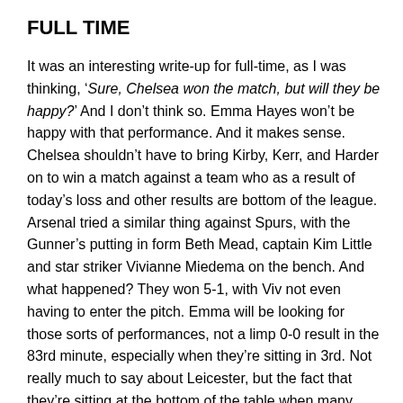FULL TIME
It was an interesting write-up for full-time, as I was thinking, ‘Sure, Chelsea won the match, but will they be happy?’ And I don’t think so. Emma Hayes won’t be happy with that performance. And it makes sense. Chelsea shouldn’t have to bring Kirby, Kerr, and Harder on to win a match against a team who as a result of today’s loss and other results are bottom of the league. Arsenal tried a similar thing against Spurs, with the Gunner’s putting in form Beth Mead, captain Kim Little and star striker Vivianne Miedema on the bench. And what happened? They won 5-1, with Viv not even having to enter the pitch. Emma will be looking for those sorts of performances, not a limp 0-0 result in the 83rd minute, especially when they’re sitting in 3rd. Not really much to say about Leicester, but the fact that they’re sitting at the bottom of the table when many predicted so much from them this season is sad, and there’s not much more to say about it.